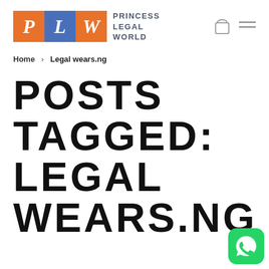[Figure (logo): Princess Legal World logo with PLW tiles in orange and blue and text]
Home > Legal wears.ng
POSTS TAGGED: LEGAL WEARS.NG
[Figure (illustration): WhatsApp green chat button icon in bottom right corner]